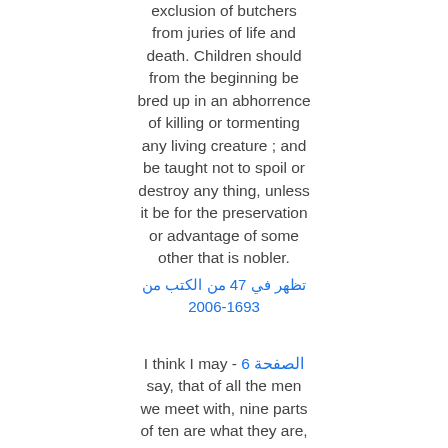exclusion of butchers from juries of life and death. Children should from the beginning be bred up in an abhorrence of killing or tormenting any living creature ; and be taught not to spoil or destroy any thing, unless it be for the preservation or advantage of some other that is nobler.
تظهر في 47 من الكتب من 1693-2006
I think I may - الصفحة 6 say, that of all the men we meet with, nine parts of ten are what they are, good or evil, useful or not, by their education.
تظهر في 285 من الكتب من 1758-2008